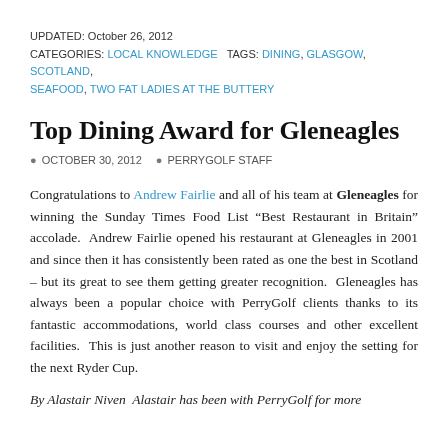UPDATED: October 26, 2012
CATEGORIES: LOCAL KNOWLEDGE   TAGS: DINING, GLASGOW, SCOTLAND, SEAFOOD, TWO FAT LADIES AT THE BUTTERY
Top Dining Award for Gleneagles
OCTOBER 30, 2012   PERRYGOLF STAFF
Congratulations to Andrew Fairlie and all of his team at Gleneagles for winning the Sunday Times Food List “Best Restaurant in Britain” accolade.  Andrew Fairlie opened his restaurant at Gleneagles in 2001 and since then it has consistently been rated as one the best in Scotland – but its great to see them getting greater recognition.  Gleneagles has always been a popular choice with PerryGolf clients thanks to its fantastic accommodations, world class courses and other excellent facilities.  This is just another reason to visit and enjoy the setting for the next Ryder Cup.
By Alastair Niven  Alastair has been with PerryGolf for more